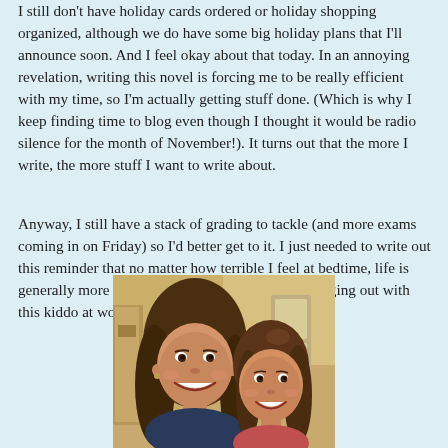I still don't have holiday cards ordered or holiday shopping organized, although we do have some big holiday plans that I'll announce soon. And I feel okay about that today. In an annoying revelation, writing this novel is forcing me to be really efficient with my time, so I'm actually getting stuff done. (Which is why I keep finding time to blog even though I thought it would be radio silence for the month of November!). It turns out that the more I write, the more stuff I want to write about.
Anyway, I still have a stack of grading to tackle (and more exams coming in on Friday) so I'd better get to it. I just needed to write out this reminder that no matter how terrible I feel at bedtime, life is generally more endurable in the morning.  And hanging out with this kiddo at work today doesn't hurt either.
[Figure (photo): Photo of a smiling woman with brown hair and a young girl with brown hair, both smiling at the camera, taken indoors.]